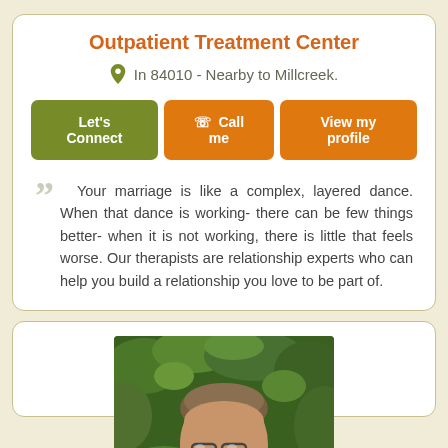Outpatient Treatment Center
In 84010 - Nearby to Millcreek.
[Figure (screenshot): Three buttons: 'Let's Connect' (green), 'Call me' (orange with phone icon), 'View my profile' (orange)]
Your marriage is like a complex, layered dance. When that dance is working- there can be few things better- when it is not working, there is little that feels worse. Our therapists are relationship experts who can help you build a relationship you love to be part of.
[Figure (photo): A man wearing glasses outdoors with green foliage background, partially visible (cropped at chin level)]